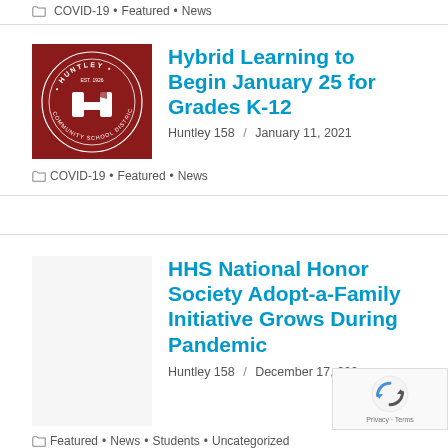COVID-19 • Featured • News
[Figure (logo): Huntley Community School District 158 circular logo on red background]
Hybrid Learning to Begin January 25 for Grades K-12
Huntley 158 / January 11, 2021
COVID-19 • Featured • News
HHS National Honor Society Adopt-a-Family Initiative Grows During Pandemic
Huntley 158 / December 17, 202[0]
Featured • News • Students • Uncategorized